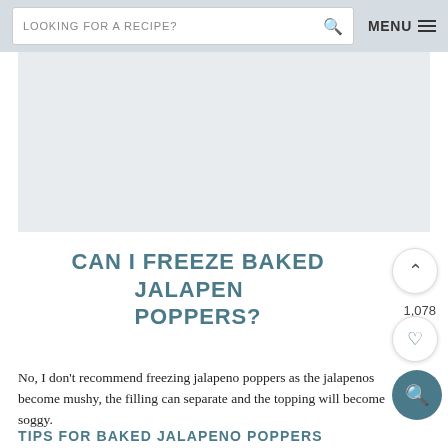LOOKING FOR A RECIPE? [search] MENU ≡
[Figure (photo): Image placeholder area, light gray background, likely a food photo]
CAN I FREEZE BAKED JALAPENO POPPERS?
No, I don't recommend freezing jalapeno poppers as the jalapenos become mushy, the filling can separate and the topping will become soggy.
TIPS FOR BAKED JALAPENO POPPERS